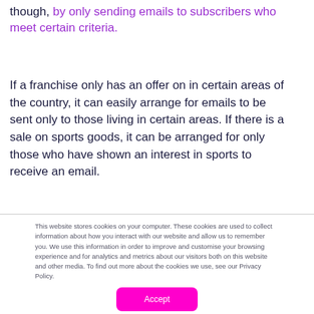though, by only sending emails to subscribers who meet certain criteria.
If a franchise only has an offer on in certain areas of the country, it can easily arrange for emails to be sent only to those living in certain areas. If there is a sale on sports goods, it can be arranged for only those who have shown an interest in sports to receive an email.
This website stores cookies on your computer. These cookies are used to collect information about how you interact with our website and allow us to remember you. We use this information in order to improve and customise your browsing experience and for analytics and metrics about our visitors both on this website and other media. To find out more about the cookies we use, see our Privacy Policy.
Accept